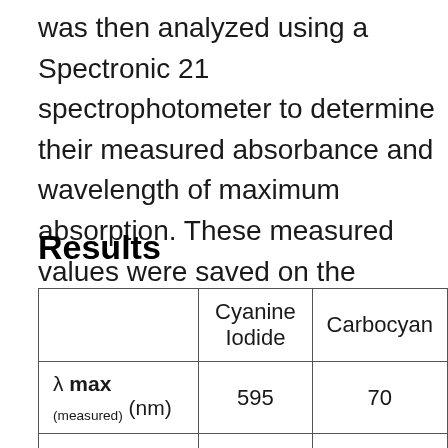was then analyzed using a Spectronic 21 spectrophotometer to determine their measured absorbance and wavelength of maximum absorption. These measured values were saved on the computer and later analyzed.
Results
|  | Cyanine Iodide | Carbocyan… |
| --- | --- | --- |
| λ max (measured) (nm) | 595 | 70… |
| λ max (calculated) (nm) | 604 | 73… |
| α | -0.0732 | -0.… |